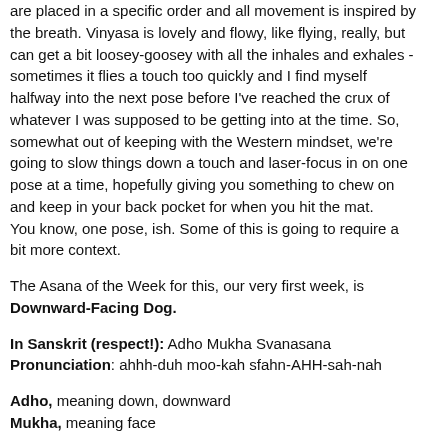are placed in a specific order and all movement is inspired by the breath. Vinyasa is lovely and flowy, like flying, really, but can get a bit loosey-goosey with all the inhales and exhales - sometimes it flies a touch too quickly and I find myself halfway into the next pose before I've reached the crux of whatever I was supposed to be getting into at the time. So, somewhat out of keeping with the Western mindset, we're going to slow things down a touch and laser-focus in on one pose at a time, hopefully giving you something to chew on and keep in your back pocket for when you hit the mat.
You know, one pose, ish. Some of this is going to require a bit more context.
The Asana of the Week for this, our very first week, is Downward-Facing Dog.
In Sanskrit (respect!): Adho Mukha Svanasana
Pronunciation: ahhh-duh moo-kah sfahn-AHH-sah-nah
Adho, meaning down, downward
Mukha, meaning face